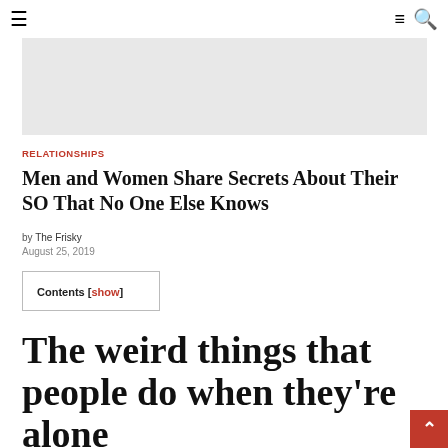☰  ≡ 🔍
[Figure (other): Gray advertisement banner placeholder]
RELATIONSHIPS
Men and Women Share Secrets About Their SO That No One Else Knows
by The Frisky
August 25, 2019
Contents [show]
The weird things that people do when they're alone